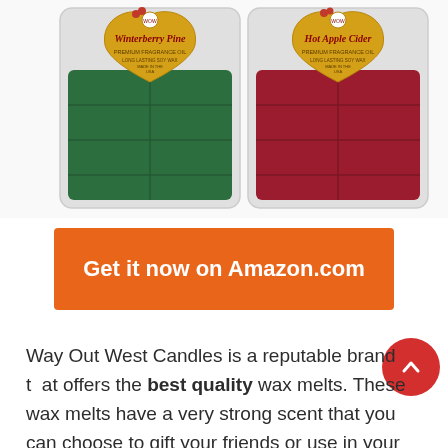[Figure (photo): Two wax melt packages side by side: Winterberry Pine (green) and Hot Apple Cider (red/cranberry), both labeled Premium Fragrance Oil, Long Lasting Soy Wax, Made in the USA, with gold heart-shaped labels.]
Get it now on Amazon.com
Way Out West Candles is a reputable brand that offers the best quality wax melts. These wax melts have a very strong scent that you can choose to gift your friends or use in your home. They come in four different scents that you can